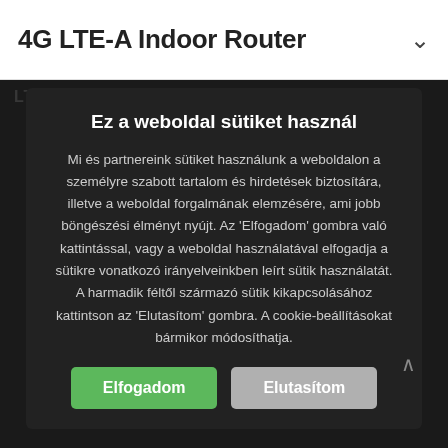4G LTE-A Indoor Router
Ez a weboldal sütiket használ
Mi és partnereink sütiket használunk a weboldalon a személyre szabott tartalom és hirdetések biztosítára, illetve a weboldal forgalmának elemzésére, ami jobb böngészési élményt nyújt. Az 'Elfogadom' gombra való kattintással, vagy a weboldal használatával elfogadja a sütikre vonatkozó irányelveinkben leírt sütik használatát. A harmadik féltől származó sütik kikapcsolásához kattintson az 'Elutasítom' gombra. A cookie-beállításokat bármikor módosíthatja.
Elfogadom
Elutasítom